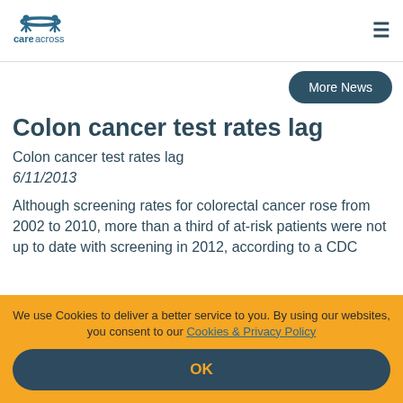care across [logo] | hamburger menu
More News
Colon cancer test rates lag
Colon cancer test rates lag
6/11/2013
Although screening rates for colorectal cancer rose from 2002 to 2010, more than a third of at-risk patients were not up to date with screening in 2012, according to a CDC
We use Cookies to deliver a better service to you. By using our websites, you consent to our Cookies & Privacy Policy
OK